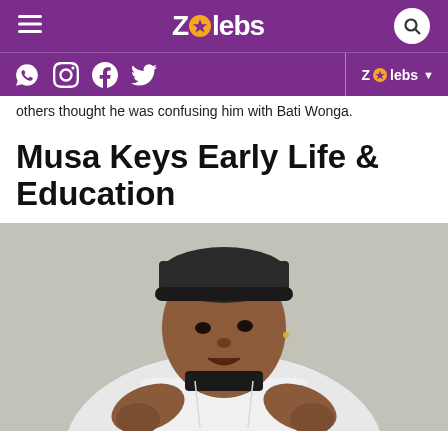ZAlebs
others thought he was confusing him with Bati Wonga.
Musa Keys Early Life & Education
[Figure (photo): Portrait photo of Musa Keys wearing a black beanie hat and white hoodie, looking at camera with mouth slightly open, hands raised holding hoodie collar]